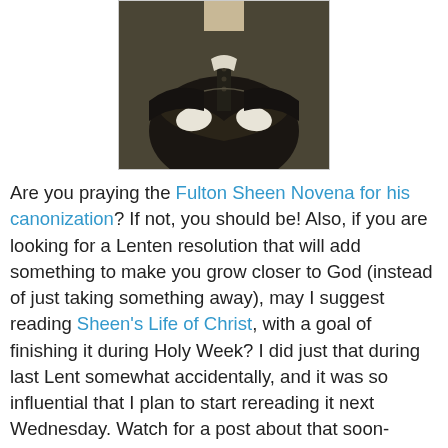[Figure (photo): Black and white photograph of a clergyman in dark robes with arms crossed, cropped to show torso and lower face]
Are you praying the Fulton Sheen Novena for his canonization?  If not, you should be!  Also, if you are looking for a Lenten resolution that will add something to make you grow closer to God (instead of just taking something away), may I suggest reading Sheen's Life of Christ, with a goal of finishing it during Holy Week?  I did just that during last Lent somewhat accidentally, and it was so influential that I plan to start rereading it next Wednesday.  Watch for a post about that soon-mostly because Nancy at Reading Catholic is hosting a series and asked me to contribute.  Thanks, Nancy!
Happy Friday!